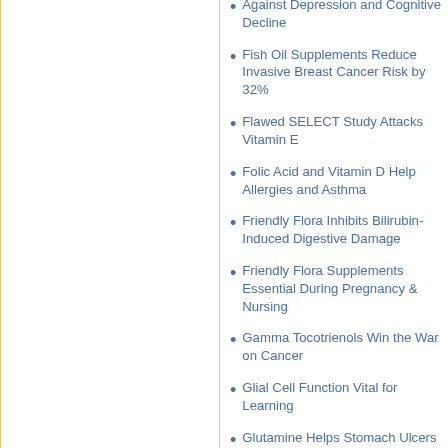Against Depression and Cognitive Decline
Fish Oil Supplements Reduce Invasive Breast Cancer Risk by 32%
Flawed SELECT Study Attacks Vitamin E
Folic Acid and Vitamin D Help Allergies and Asthma
Friendly Flora Inhibits Bilirubin-Induced Digestive Damage
Friendly Flora Supplements Essential During Pregnancy & Nursing
Gamma Tocotrienols Win the War on Cancer
Glial Cell Function Vital for Learning
Glutamine Helps Stomach Ulcers